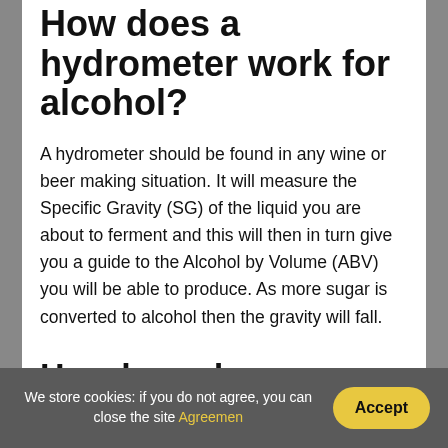How does a hydrometer work for alcohol?
A hydrometer should be found in any wine or beer making situation. It will measure the Specific Gravity (SG) of the liquid you are about to ferment and this will then in turn give you a guide to the Alcohol by Volume (ABV) you will be able to produce. As more sugar is converted to alcohol then the gravity will fall.
How long does alcohol stay in your blood?
We store cookies: if you do not agree, you can close the site Agreemen